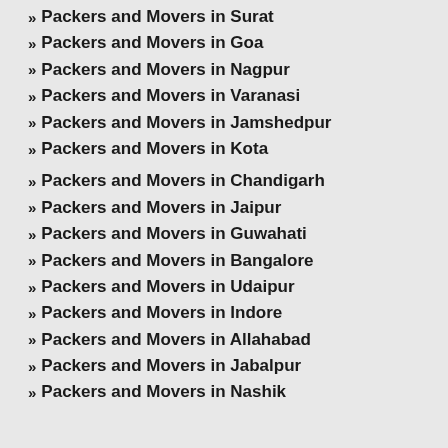Packers and Movers in Surat
Packers and Movers in Goa
Packers and Movers in Nagpur
Packers and Movers in Varanasi
Packers and Movers in Jamshedpur
Packers and Movers in Kota
Packers and Movers in Chandigarh
Packers and Movers in Jaipur
Packers and Movers in Guwahati
Packers and Movers in Bangalore
Packers and Movers in Udaipur
Packers and Movers in Indore
Packers and Movers in Allahabad
Packers and Movers in Jabalpur
Packers and Movers in Nashik